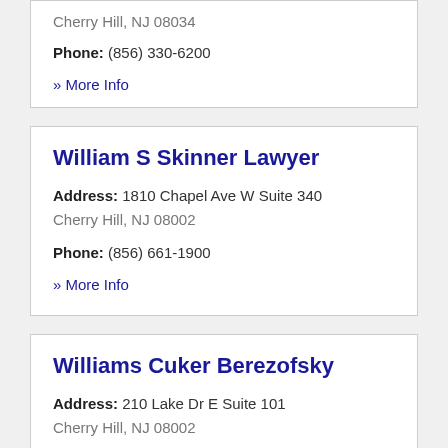Cherry Hill, NJ 08034
Phone: (856) 330-6200
» More Info
William S Skinner Lawyer
Address: 1810 Chapel Ave W Suite 340
Cherry Hill, NJ 08002
Phone: (856) 661-1900
» More Info
Williams Cuker Berezofsky
Address: 210 Lake Dr E Suite 101
Cherry Hill, NJ 08002
Phone: (856) 667-2257